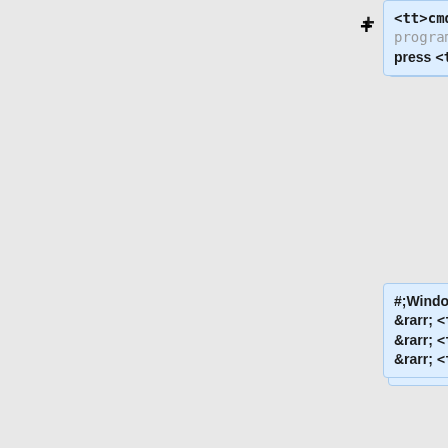<tt>cmd</tt> in the <tt>Search programs and files</tt> field, press <tt>Enter</tt>
#;Windows XP:Click Start Button → <tt>All Programs</tt> → <tt>Accessories</tt> → <tt>Command Prompt</tt>
#Change to the drive containing the GnuCash program files (usually C drive) if that is